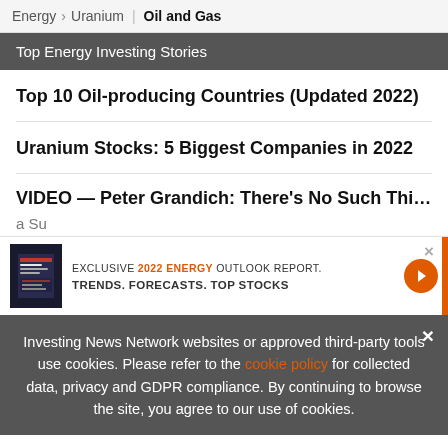Energy > Uranium | Oil and Gas
Top Energy Investing Stories
Top 10 Oil-producing Countries (Updated 2022)
Uranium Stocks: 5 Biggest Companies in 2022
VIDEO — Peter Grandich: There's No Such Thing... a Su...
[Figure (screenshot): Ad banner: EXCLUSIVE 2022 ENERGY OUTLOOK REPORT. TRENDS. FORECASTS. TOP STOCKS with orange arrow button and close X]
Investing News Network websites or approved third-party tools use cookies. Please refer to the cookie policy for collected data, privacy and GDPR compliance. By continuing to browse the site, you agree to our use of cookies.